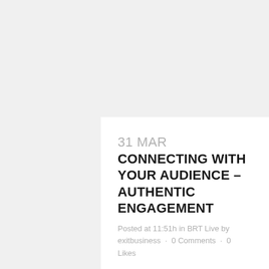31 MAR CONNECTING WITH YOUR AUDIENCE – AUTHENTIC ENGAGEMENT
Posted at 11:51h in BRT Live by exitbusiness · 0 Comments · 0 Likes
In this week's Exit Your Way Live,